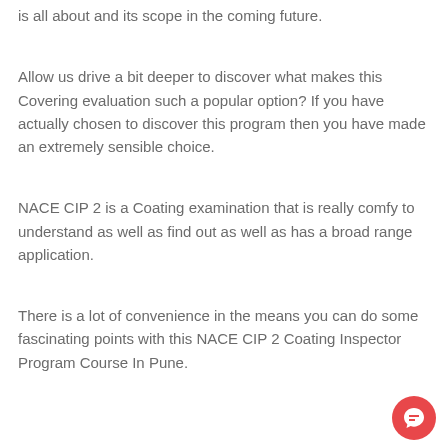is all about and its scope in the coming future.
Allow us drive a bit deeper to discover what makes this Covering evaluation such a popular option? If you have actually chosen to discover this program then you have made an extremely sensible choice.
NACE CIP 2 is a Coating examination that is really comfy to understand as well as find out as well as has a broad range application.
There is a lot of convenience in the means you can do some fascinating points with this NACE CIP 2 Coating Inspector Program Course In Pune.